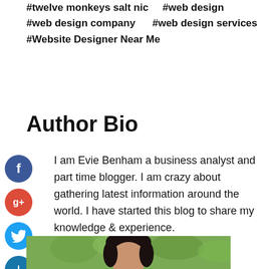#twelve monkeys salt nic   #web design
#web design company     #web design services
#Website Designer Near Me
Author Bio
I am Evie Benham a business analyst and part time blogger. I am crazy about gathering latest information around the world. I have started this blog to share my knowledge & experience.
[Figure (photo): Portrait photo of a young dark-haired woman outdoors with green foliage background]